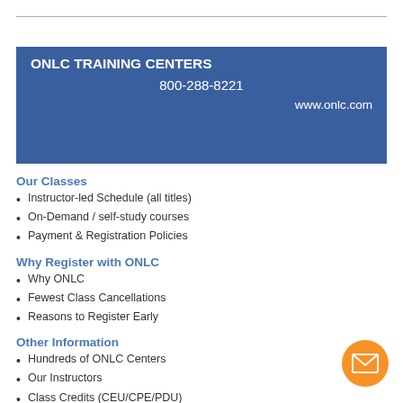[Figure (logo): ONLC Training Centers banner with phone number and website on blue background]
Our Classes
Instructor-led Schedule (all titles)
On-Demand / self-study courses
Payment & Registration Policies
Why Register with ONLC
Why ONLC
Fewest Class Cancellations
Reasons to Register Early
Other Information
Hundreds of ONLC Centers
Our Instructors
Class Credits (CEU/CPE/PDU)